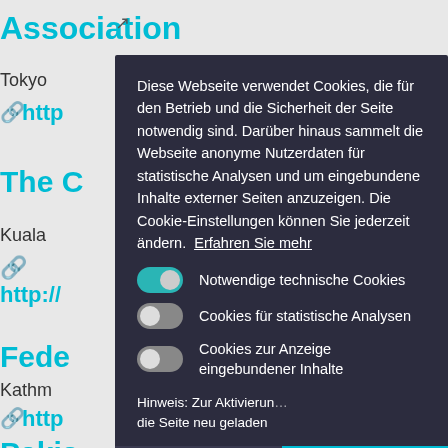[Figure (screenshot): Background webpage content with teal/cyan colored links and text partially visible behind dark cookie consent modal]
Diese Webseite verwendet Cookies, die für den Betrieb und die Sicherheit der Seite notwendig sind. Darüber hinaus sammelt die Webseite anonyme Nutzerdaten für statistische Analysen und um eingebundene Inhalte externer Seiten anzuzeigen. Die Cookie-Einstellungen können Sie jederzeit ändern.  Erfahren Sie mehr
Notwendige technische Cookies
Cookies für statistische Analysen
Cookies zur Anzeige eingebundener Inhalte
Hinweis: Zur Aktivierung ... die Seite neu geladen
Speichern
Alle Akzeptieren